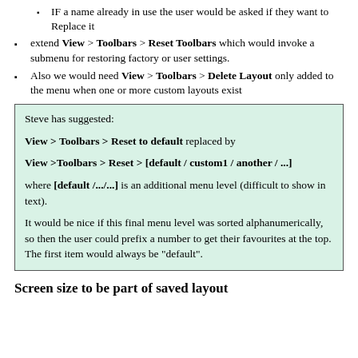IF a name already in use the user would be asked if they want to Replace it
extend View > Toolbars > Reset Toolbars which would invoke a submenu for restoring factory or user settings.
Also we would need View > Toolbars > Delete Layout only added to the menu when one or more custom layouts exist
Steve has suggested:

View > Toolbars > Reset to default replaced by

View >Toolbars > Reset > [default / custom1 / another / ...]

where [default /.../...] is an additional menu level (difficult to show in text).

It would be nice if this final menu level was sorted alphanumerically, so then the user could prefix a number to get their favourites at the top. The first item would always be "default".
Screen size to be part of saved layout